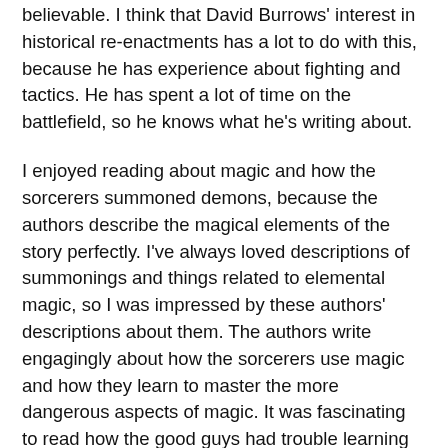believable. I think that David Burrows' interest in historical re-enactments has a lot to do with this, because he has experience about fighting and tactics. He has spent a lot of time on the battlefield, so he knows what he's writing about.
I enjoyed reading about magic and how the sorcerers summoned demons, because the authors describe the magical elements of the story perfectly. I've always loved descriptions of summonings and things related to elemental magic, so I was impressed by these authors' descriptions about them. The authors write engagingly about how the sorcerers use magic and how they learn to master the more dangerous aspects of magic. It was fascinating to read how the good guys had trouble learning the principles involved in summoning demons.
I think it's good to mention that reading The Prophecy